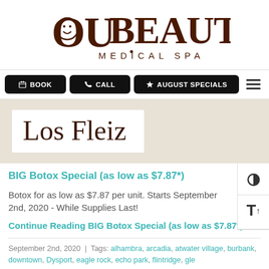[Figure (logo): OuBeauty Medical Spa logo with stylized OU and face icon in dark brown]
BOOK | CALL | AUGUST SPECIALS
Los Fleiz
BIG Botox Special (as low as $7.87*)
Botox for as low as $7.87 per unit. Starts September 2nd, 2020 - While Supplies Last!
Continue Reading BIG Botox Special (as low as $7.87*)
September 2nd, 2020  |  Tags: alhambra, arcadia, atwater village, burbank, downtown, Dysport, eagle rock, echo park, flintridge, gle... io... la... little... los... Fleiz... medi...